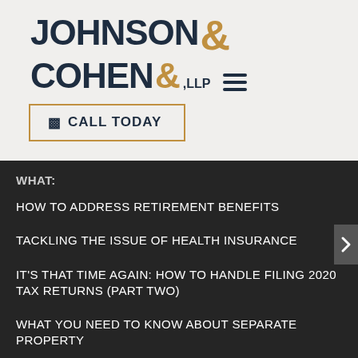[Figure (logo): Johnson & Cohen, LLP law firm logo with dark navy text and gold ampersand]
CALL TODAY
WHAT:
HOW TO ADDRESS RETIREMENT BENEFITS
TACKLING THE ISSUE OF HEALTH INSURANCE
IT'S THAT TIME AGAIN: HOW TO HANDLE FILING 2020 TAX RETURNS (PART TWO)
WHAT YOU NEED TO KNOW ABOUT SEPARATE PROPERTY
ARCHIVES